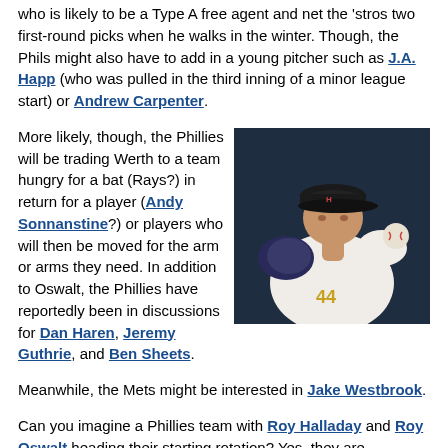who is likely to be a Type A free agent and net the 'stros two first-round picks when he walks in the winter. Though, the Phils might also have to add in a young pitcher such as J.A. Happ (who was pulled in the third inning of a minor league start) or Andrew Carpenter.
More likely, though, the Phillies will be trading Werth to a team hungry for a bat (Rays?) in return for a player (Andy Sonnanstine?) or players who will then be moved for the arm or arms they need. In addition to Oswalt, the Phillies have reportedly been in discussions for Dan Haren, Jeremy Guthrie, and Ben Sheets.
[Figure (photo): Baseball pitcher wearing jersey number 44, in white uniform, in pitching stance against dark background]
Meanwhile, the Mets might be interested in Jake Westbrook.
Can you imagine a Phillies team with Roy Halladay and Roy Oswalt heading their starting rotation? Yes, they are struggling all